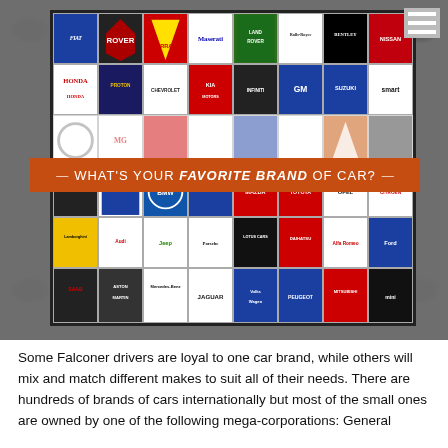[Figure (infographic): Image showing a grid of car brand logos (Fiat, Rover, Ferrari, Maserati, Land Rover, Rolls-Royce, Bentley, Nissan, Honda, Proton, Chevrolet, Kia, Infiniti, GM, Suzuki, Smart, Lada, Hyundai, BMW, Volvo, Mazda, Toyota, Opel, Citroen, Lamborghini, Audi, Jeep, Porsche, Lotus, Daihatsu, Alfa Romeo, Ford, Saab, Aston Martin, Mercedes-Benz, Jaguar, Volkswagen, Peugeot, Mitsubishi, Mini) with a blurred grayscale version in the background. A red-orange banner overlays the center reading 'WHAT'S YOUR FAVORITE BRAND OF CAR?']
Some Falconer drivers are loyal to one car brand, while others will mix and match different makes to suit all of their needs. There are hundreds of brands of cars internationally but most of the small ones are owned by one of the following mega-corporations: General